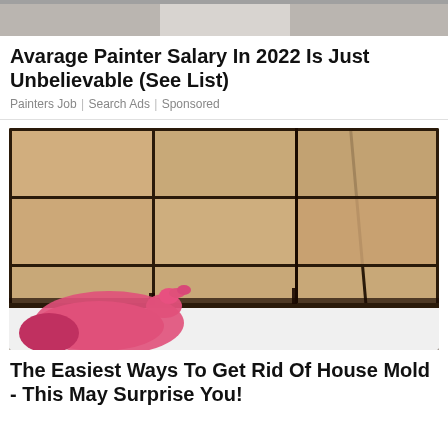[Figure (photo): Top cropped photo, partially visible, showing what appears to be a light-colored dispenser or object against a light background]
Avarage Painter Salary In 2022 Is Just Unbelievable (See List)
Painters Job | Search Ads | Sponsored
[Figure (photo): A pink rubber-gloved hand pointing at black mold on white grout between beige/tan ceramic bathroom tiles at the corner of a bathtub]
The Easiest Ways To Get Rid Of House Mold - This May Surprise You!